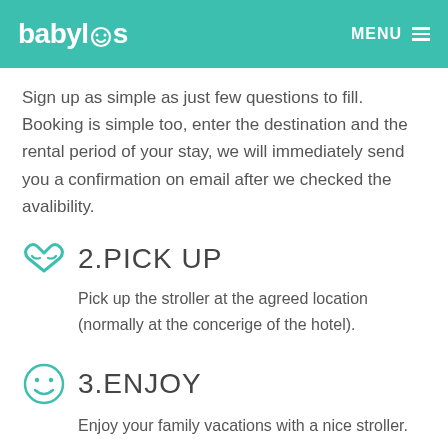babylimos   MENU
Sign up as simple as just few questions to fill. Booking is simple too, enter the destination and the rental period of your stay, we will immediately send you a confirmation on email after we checked the avalibility.
2.PICK UP
Pick up the stroller at the agreed location (normally at the concerige of the hotel).
3.ENJOY
Enjoy your family vacations with a nice stroller.